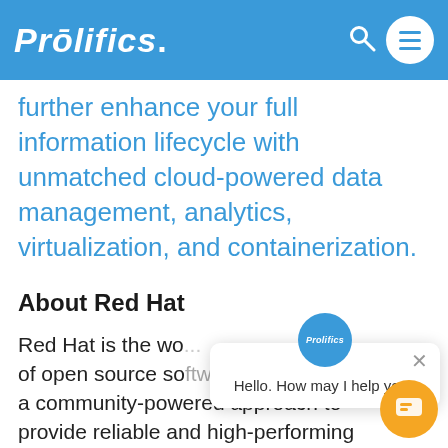Prolifics.
further enhance your full information lifecycle with unmatched cloud-powered data management, analytics, virtualization, and containerization.
About Red Hat
Red Hat is the wo... of open source software solutions, using a community-powered approach to provide reliable and high-performing cloud, Linux, middleware, storage and
[Figure (screenshot): Chat popup overlay with Prolifics logo circle, close button X, and message 'Hello. How may I help you?' with orange chat button at bottom right.]